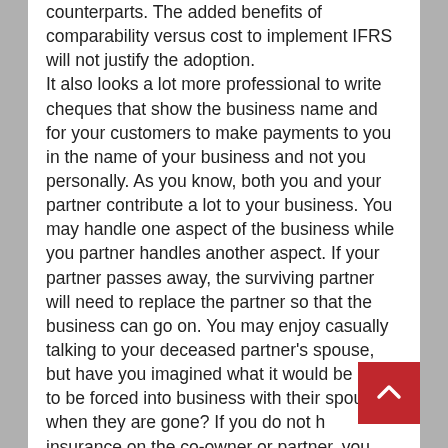counterparts. The added benefits of comparability versus cost to implement IFRS will not justify the adoption. It also looks a lot more professional to write cheques that show the business name and for your customers to make payments to you in the name of your business and not you personally. As you know, both you and your partner contribute a lot to your business. You may handle one aspect of the business while you partner handles another aspect. If your partner passes away, the surviving partner will need to replace the partner so that the business can go on. You may enjoy casually talking to your deceased partner's spouse, but have you imagined what it would be like to be forced into business with their spouse when they are gone? If you do not h[ave] insurance on the co-owner or partner, you may b[e] required to work with the widow, widower, or the heirs of your partner. This can cause problems and